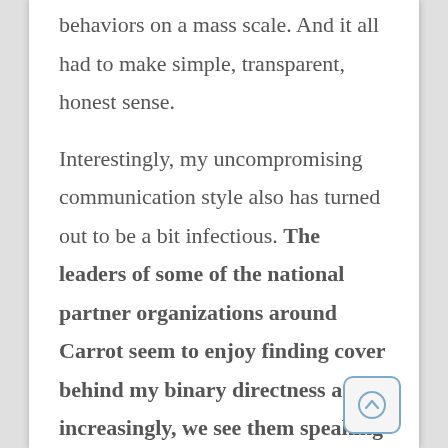behaviors on a mass scale. And it all had to make simple, transparent, honest sense.
Interestingly, my uncompromising communication style also has turned out to be a bit infectious. The leaders of some of the national partner organizations around Carrot seem to enjoy finding cover behind my binary directness and, increasingly, we see them speaking up publicly in proudly blunt tones one wouldn't expect of senior public servants or prominent corporate CEOs. Add to this the fact that journalists obviously love interviewing uncompromisingly authentic